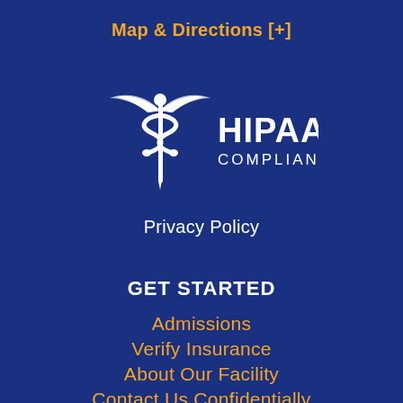Map & Directions [+]
[Figure (logo): HIPAA Compliant logo with caduceus symbol (medical staff with wings and serpents) in white on dark blue background, with text HIPAA COMPLIANT to the right]
Privacy Policy
GET STARTED
Admissions
Verify Insurance
About Our Facility
Contact Us Confidentially